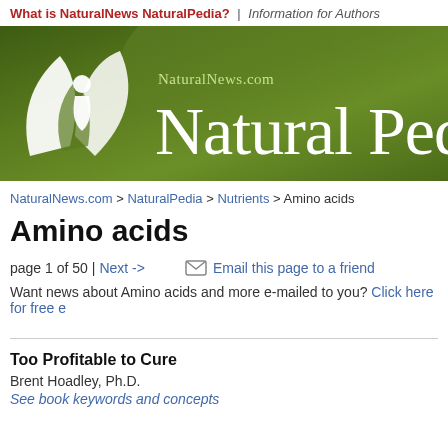What is NaturalNews NaturalPedia? | Information for Authors
[Figure (logo): NaturalNews NaturalPedia banner with green gradient background, white leaf/person logo on left, and text 'NaturalNews.com Natural Pedia' in white]
NaturalNews.com > NaturalPedia > Nutrients > Amino acids
Amino acids
page 1 of 50 | Next ->   ✉ Email this page to a friend
Want news about Amino acids and more e-mailed to you? Click here for free e
Too Profitable to Cure
Brent Hoadley, Ph.D.
See book keywords and concepts